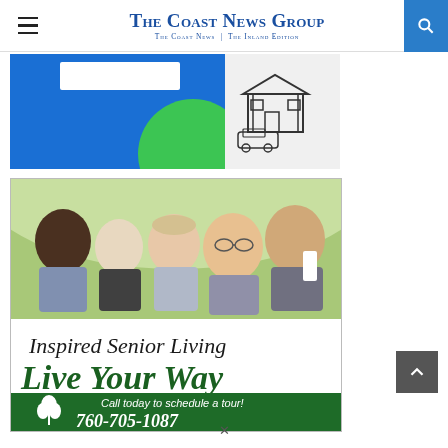The Coast News Group — The Coast News | The Inland Edition
[Figure (photo): Banner advertisement with blue background, white rectangle, green circle, and house with van icon]
[Figure (photo): Senior living advertisement: group of smiling elderly people outdoors, text reads 'Inspired Senior Living — Live Your Way — Independent & Assisted Living • Memory Care — Call today to schedule a tour! 760-705-1087']